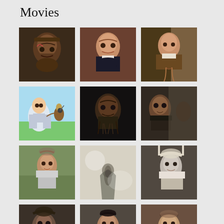Movies
[Figure (photo): Close-up of a bearded man with wounds on his face, dark dramatic lighting]
[Figure (photo): Portrait of a man in period costume with white ruffled collar, dark jacket]
[Figure (photo): Man in Renaissance costume with hands clasped in prayer, indoor setting]
[Figure (illustration): Animated illustration of a young boy in knight armor holding a bird]
[Figure (photo): Dark scene of a bearded man with hands raised in prayer, low lighting]
[Figure (photo): Profile of a man in dark clothing, misty atmospheric background]
[Figure (photo): Young man in monk's grey robes standing in a field, overcast sky]
[Figure (photo): Foggy scene with silhouette of a figure in the mist]
[Figure (photo): Young woman in white head covering looking sideways, period costume]
[Figure (photo): Person in dark head covering, partially visible, indoor setting]
[Figure (photo): Man in dark clerical clothing, frontal portrait]
[Figure (photo): Man in period costume, chest visible, looking forward]